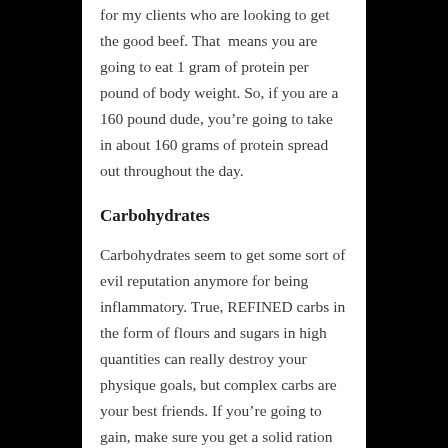for my clients who are looking to get the good beef. That means you are going to eat 1 gram of protein per pound of body weight. So, if you are a 160 pound dude, you're going to take in about 160 grams of protein spread out throughout the day.
Carbohydrates
Carbohydrates seem to get some sort of evil reputation anymore for being inflammatory. True, REFINED carbs in the form of flours and sugars in high quantities can really destroy your physique goals, but complex carbs are your best friends. If you're going to gain, make sure you get a solid ration of